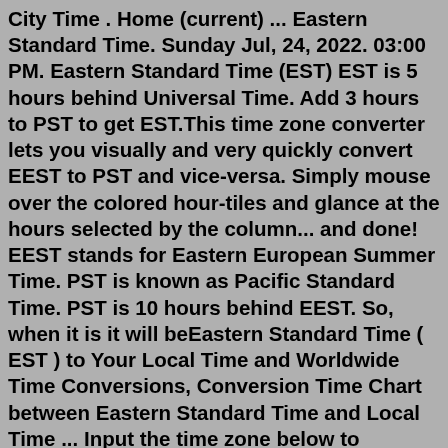City Time . Home (current) ... Eastern Standard Time. Sunday Jul, 24, 2022. 03:00 PM. Eastern Standard Time (EST) EST is 5 hours behind Universal Time. Add 3 hours to PST to get EST.This time zone converter lets you visually and very quickly convert EEST to PST and vice-versa. Simply mouse over the colored hour-tiles and glance at the hours selected by the column... and done! EEST stands for Eastern European Summer Time. PST is known as Pacific Standard Time. PST is 10 hours behind EEST. So, when it is it will beEastern Standard Time ( EST ) to Your Local Time and Worldwide Time Conversions, Conversion Time Chart between Eastern Standard Time and Local Time ... Input the time zone below to convert: » EDT to Worldwide Timezone Converters • Eastern Daylight Time Offset: UTC -4 :: Local Time :: Search Time Zone Converters; Moon Phases Rise Set Time ...Jul 24, 2022 · EST to PST Conversion View the EST to PST conversion below. Eastern Standard Time is 3 hours ahead of Pacific Standard Time. Convert more time...